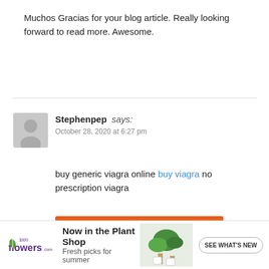Muchos Gracias for your blog article. Really looking forward to read more. Awesome.
Stephenpep says:
October 28, 2020 at 6:27 pm
buy generic viagra online buy viagra no prescription viagra
[Figure (infographic): Direct Relief orange advertisement banner: Help send medical aid to Ukraine >>]
[Figure (infographic): 1-800-Flowers.com ad banner: Now in the Plant Shop, Fresh picks for summer, SEE WHAT'S NEW button, with plant image]